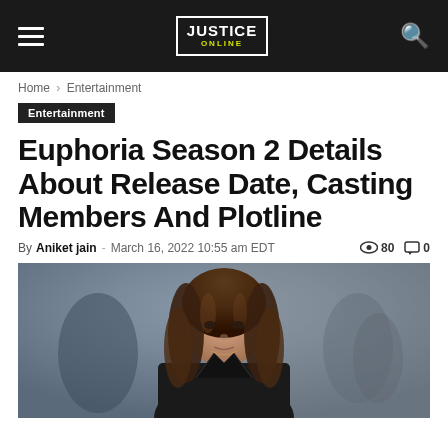Justice Online
Home › Entertainment
Entertainment
Euphoria Season 2 Details About Release Date, Casting Members And Plotline
By Aniket jain - March 16, 2022 10:55 am EDT  👁 80  💬 0
[Figure (photo): Young woman with long curly brown hair wearing a dark jacket, standing in front of a blurred crowd background]